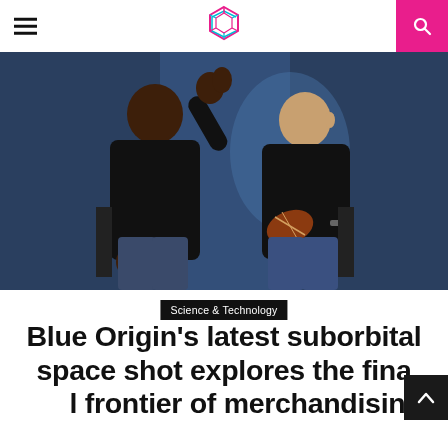Navigation header with hamburger menu, Cointelegraph logo, and search button
[Figure (photo): Two men seated; man on left in black sweater gesturing with raised hand; man on right in black polo shirt holding a brown football. Blue background visible behind them.]
Science & Technology
Blue Origin's latest suborbital space shot explores the final frontier of merchandising